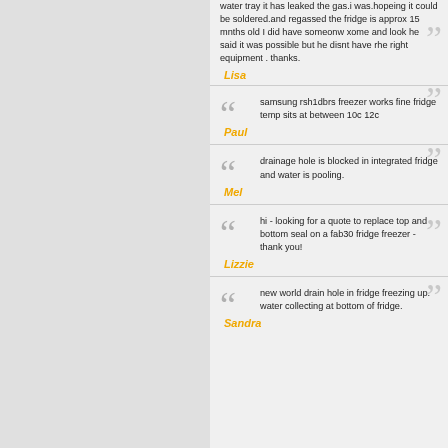water tray it has leaked the gas.i was.hopeing it could be soldered.and regassed the fridge is approx 15 mnths old I did have someonw xome and look he said it was possible but he disnt have rhe right equipment . thanks.
Lisa
samsung rsh1dbrs freezer works fine fridge temp sits at between 10c 12c
Paul
drainage hole is blocked in integrated fridge and water is pooling.
Mel
hi - looking for a quote to replace top and bottom seal on a fab30 fridge freezer - thank you!
Lizzie
new world drain hole in fridge freezing up. water collecting at bottom of fridge.
Sandra